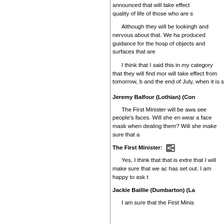announced that will take effect quality of life of those who are s
Although they will be looking and nervous about that. We ha produced guidance for the hosp of objects and surfaces that are
I think that I said this in my category that they will find mor will take effect from tomorrow, b and the end of July, when it is s
Jeremy Balfour (Lothian) (Con): The First Minister will be awa see people's faces. Will she en wear a face mask when dealing them? Will she make sure that a
The First Minister: Yes, I think that that is extre that I will make sure that we ac has set out. I am happy to ask t
Jackie Baillie (Dumbarton) (La I am sure that the First Minis